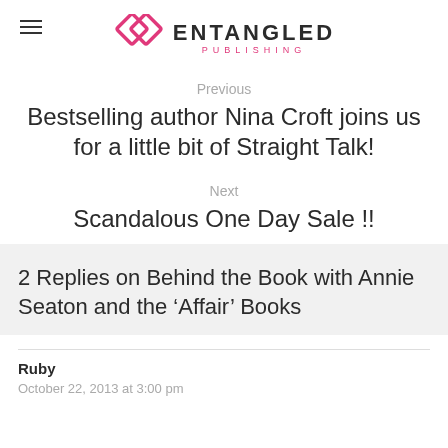ENTANGLED PUBLISHING
Previous
Bestselling author Nina Croft joins us for a little bit of Straight Talk!
Next
Scandalous One Day Sale !!
2 Replies on Behind the Book with Annie Seaton and the ‘Affair’ Books
Ruby
October 22, 2013 at 3:00 pm